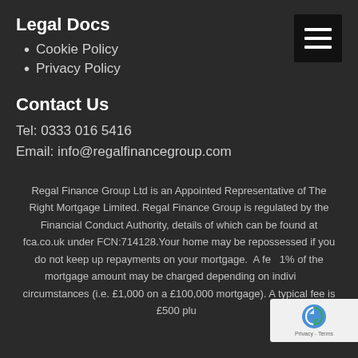Legal Docs
Cookie Policy
Privacy Policy
Contact Us
Tel: 0333 016 5416
Email: info@regalfinancegroup.com
Regal Finance Group Ltd is an Appointed Representative of The Right Mortgage Limited. Regal Finance Group is regulated by the Financial Conduct Authority, details of which can be found at fca.co.uk under FCN:714128.Your home may be repossessed if you do not keep up repayments on your mortgage. A fe... 1% of the mortgage amount may be charged depending on indivi... circumstances (i.e. £1,000 on a £100,000 mortgage). A typical fee is £500 plu...